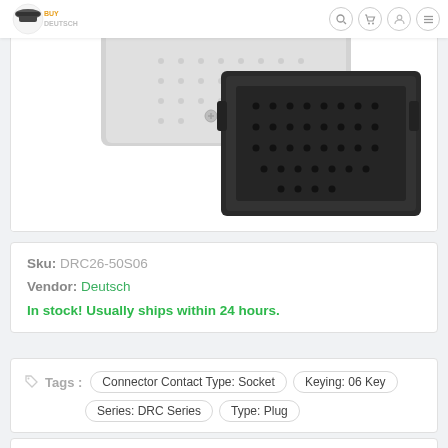BuyDeutsch logo and navigation icons
[Figure (photo): Deutsch DRC26-50S06 electrical connector plug, black, showing socket face with multiple pin holes, gray housing visible in background. Product shown on white background.]
Sku: DRC26-50S06
Vendor: Deutsch
In stock! Usually ships within 24 hours.
Tags: Connector Contact Type: Socket  Keying: 06 Key  Series: DRC Series  Type: Plug